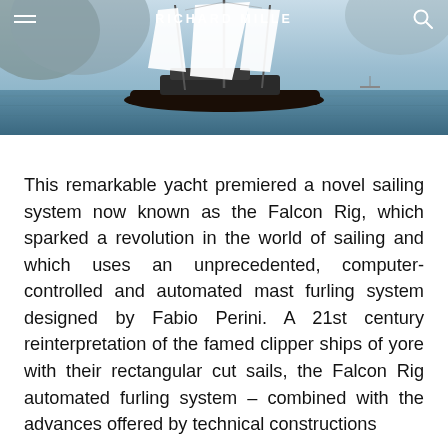[Figure (photo): Aerial view of a large sailing yacht with white square sails (Falcon Rig) on blue ocean water with mountainous coastline in background. Navigation bar overlaid with hamburger menu on left, RICHARD MILLE brand name in center, search icon on right.]
RICHARD MILLE
This remarkable yacht premiered a novel sailing system now known as the Falcon Rig, which sparked a revolution in the world of sailing and which uses an unprecedented, computer-controlled and automated mast furling system designed by Fabio Perini. A 21st century reinterpretation of the famed clipper ships of yore with their rectangular cut sails, the Falcon Rig automated furling system – combined with the advances offered by technical constructions